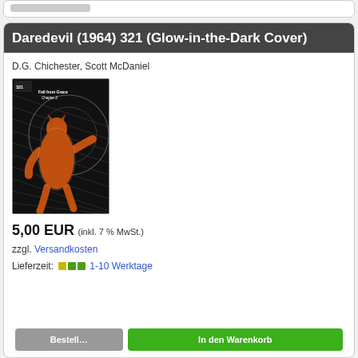Daredevil (1964) 321 (Glow-in-the-Dark Cover)
D.G. Chichester, Scott McDaniel
[Figure (illustration): Comic book cover for Daredevil (1964) 321, showing a superhero figure in orange/red costume against a dark background with hatched lines and circular design elements. Text reads 'Fall from Grace Chapter 2'.]
5,00 EUR (inkl. 7 % MwSt.)
zzgl. Versandkosten
Lieferzeit: 1-10 Werktage